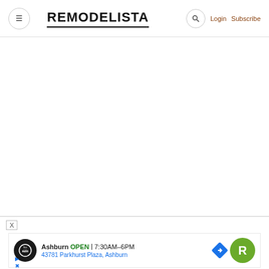REMODELISTA — with menu, search, Login, Subscribe
[Figure (screenshot): White empty content area below the header]
X
[Figure (infographic): Advertisement banner: Ashburn OPEN 7:30AM-6PM, 43781 Parkhurst Plaza, Ashburn, with tire auto logo and navigation R badge]